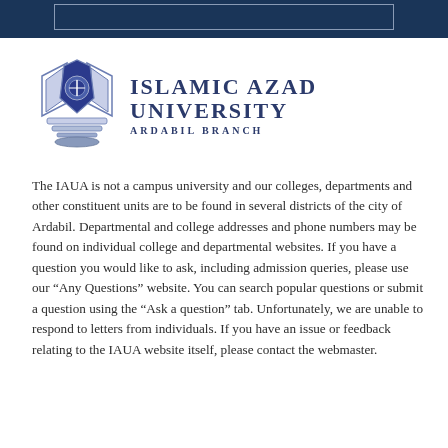[Figure (logo): Islamic Azad University Ardabil Branch logo with stylized emblem and university name]
The IAUA is not a campus university and our colleges, departments and other constituent units are to be found in several districts of the city of Ardabil. Departmental and college addresses and phone numbers may be found on individual college and departmental websites. If you have a question you would like to ask, including admission queries, please use our “Any Questions” website. You can search popular questions or submit a question using the “Ask a question” tab. Unfortunately, we are unable to respond to letters from individuals. If you have an issue or feedback relating to the IAUA website itself, please contact the webmaster.